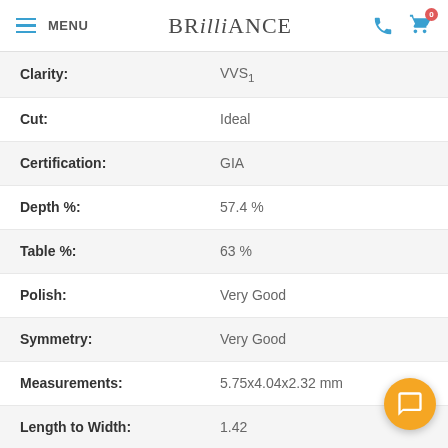MENU | BRILLIANCE
| Property | Value |
| --- | --- |
| Clarity: | VVS1 |
| Cut: | Ideal |
| Certification: | GIA |
| Depth %: | 57.4 % |
| Table %: | 63 % |
| Polish: | Very Good |
| Symmetry: | Very Good |
| Measurements: | 5.75x4.04x2.32 mm |
| Length to Width: | 1.42 |
| Girdle: | Sl. Thick - Ex. Thick |